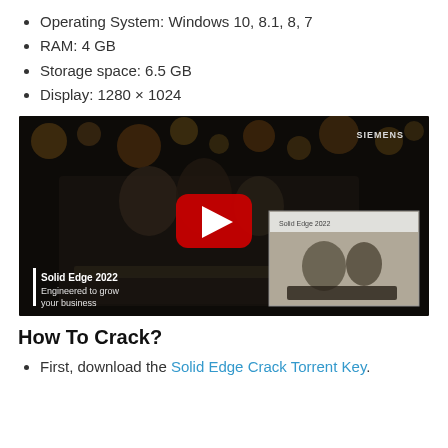Operating System: Windows 10, 8.1, 8, 7
RAM: 4 GB
Storage space: 6.5 GB
Display: 1280 × 1024
[Figure (screenshot): YouTube video thumbnail for Solid Edge 2022 showing an espresso machine in a dark scene. 'SIEMENS' label in top right. YouTube play button in center. Inset CAD model view of the espresso machine. Caption: 'Solid Edge 2022 – Engineered to grow your business'.]
How To Crack?
First, download the Solid Edge Crack Torrent Key.